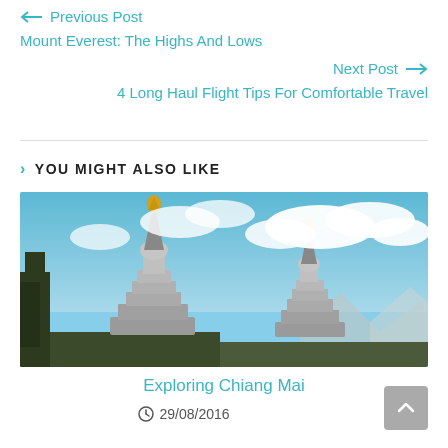← Previous Post
Mount Everest: The Highs And Lows
Next Post →
4 Long Haul Flight Tips For Comfortable Travel
YOU MIGHT ALSO LIKE
[Figure (photo): Photo of two pagoda-style stupas with gold spires against a blue sky with white clouds and distant mountains]
Exploring Chiang Mai
29/08/2016